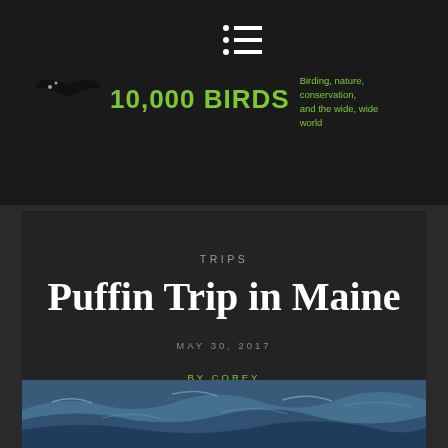10,000 BIRDS — Birding, nature, conservation, and the wide, wide world
TRIPS
Puffin Trip in Maine
MAY 30, 2017
BY COREY
6 COMMENTS
[Figure (photo): Ocean water surface with blue-grey waves]